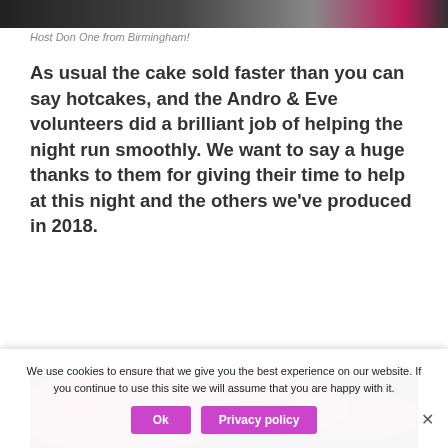[Figure (photo): Top strip of a photo showing people at an event with 'EVE' text visible]
Host Don One from Birmingham!
As usual the cake sold faster than you can say hotcakes, and the Andro & Eve volunteers did a brilliant job of helping the night run smoothly. We want to say a huge thanks to them for giving their time to help at this night and the others we've produced in 2018.
[Figure (photo): Bottom strip of a dark photo showing a crowd scene with pink/red lighting sparkles]
We use cookies to ensure that we give you the best experience on our website. If you continue to use this site we will assume that you are happy with it.